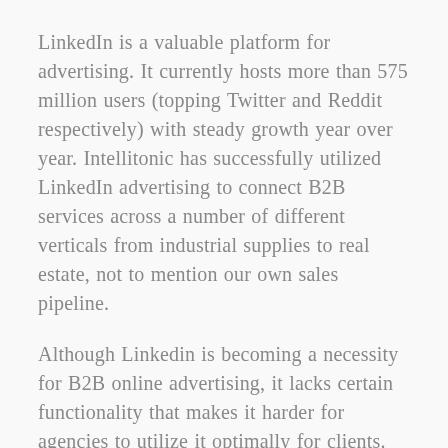LinkedIn is a valuable platform for advertising. It currently hosts more than 575 million users (topping Twitter and Reddit respectively) with steady growth year over year. Intellitonic has successfully utilized LinkedIn advertising to connect B2B services across a number of different verticals from industrial supplies to real estate, not to mention our own sales pipeline.
Although Linkedin is becoming a necessity for B2B online advertising, it lacks certain functionality that makes it harder for agencies to utilize it optimally for clients. The advertising tools are built for companies working on just their own ads and ad